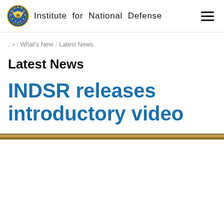Institute for National Defense
⠿ / What's New / Latest News
Latest News
INDSR releases introductory video
[Figure (photo): A decorative horizontal divider image showing a textured brownish/golden strip across the full width of the page]